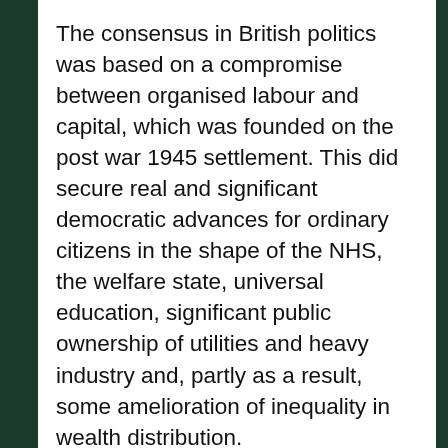The consensus in British politics was based on a compromise between organised labour and capital, which was founded on the post war 1945 settlement. This did secure real and significant democratic advances for ordinary citizens in the shape of the NHS, the welfare state, universal education, significant public ownership of utilities and heavy industry and, partly as a result, some amelioration of inequality in wealth distribution.
The end of the consensus in British politics during the New Right era ushered in more competitive politics in which traditions